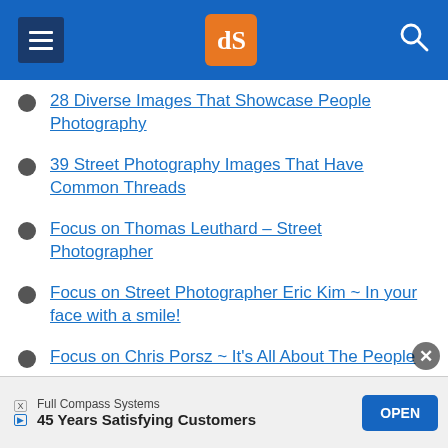[Figure (screenshot): Website header bar with hamburger menu icon, dPS logo badge in orange, and search icon on blue background]
28 Diverse Images That Showcase People Photography
39 Street Photography Images That Have Common Threads
Focus on Thomas Leuthard – Street Photographer
Focus on Street Photographer Eric Kim ~ In your face with a smile!
Focus on Chris Porsz ~ It's All About The People
Focus on Scott Frederick – Urban Explorer
Full Compass Systems
45 Years Satisfying Customers
OPEN